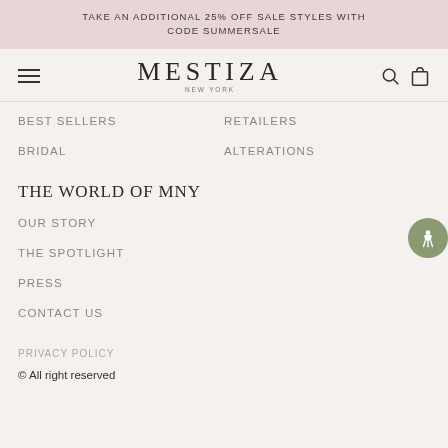TAKE AN ADDITIONAL 25% OFF SALE STYLES WITH CODE SUMMERSALE
[Figure (logo): Mestiza New York brand logo with hamburger menu, search icon, and bag icon]
BEST SELLERS
RETAILERS
BRIDAL
ALTERATIONS
THE WORLD OF MNY
OUR STORY
THE SPOTLIGHT
PRESS
CONTACT US
PRIVACY POLICY
© All right reserved